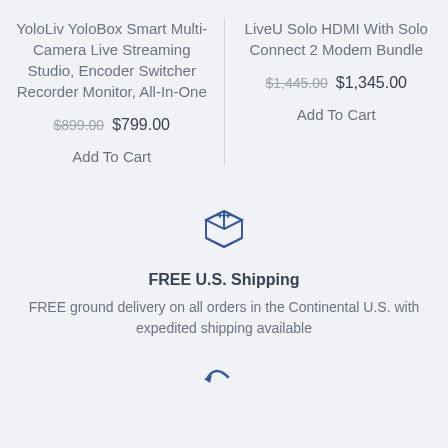YoloLiv YoloBox Smart Multi-Camera Live Streaming Studio, Encoder Switcher Recorder Monitor, All-In-One
$899.00 $799.00
Add To Cart
LiveU Solo HDMI With Solo Connect 2 Modem Bundle
$1,445.00 $1,345.00
Add To Cart
[Figure (illustration): A box/package icon representing shipping]
FREE U.S. Shipping
FREE ground delivery on all orders in the Continental U.S. with expedited shipping available